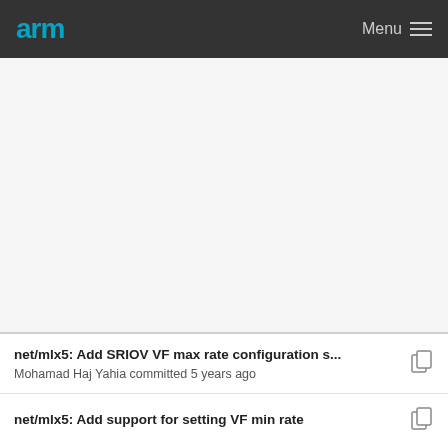arm  Menu
[Figure (screenshot): Large empty gray area representing scrollable content above commit list]
net/mlx5: Add SRIOV VF max rate configuration s...
Mohamad Haj Yahia committed 5 years ago
net/mlx5: Add support for setting VF min rate